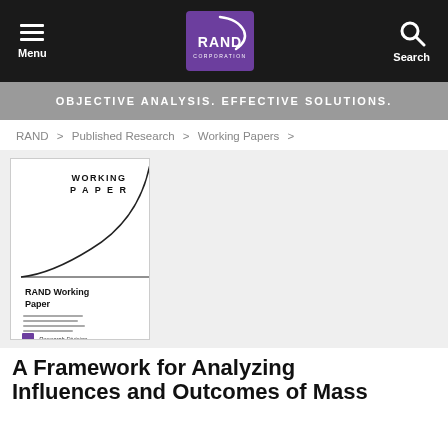Menu | RAND Corporation | Search
OBJECTIVE ANALYSIS. EFFECTIVE SOLUTIONS.
RAND > Published Research > Working Papers >
[Figure (illustration): Cover image of a RAND Working Paper document with a curved line graphic and 'RAND Working Paper' text, Research Division branding at bottom.]
A Framework for Analyzing Influences and Outcomes of Mass